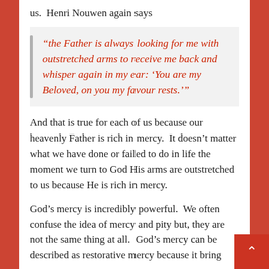us.  Henri Nouwen again says
“the Father is always looking for me with outstretched arms to receive me back and whisper again in my ear: ‘You are my Beloved, on you my favour rests.’”
And that is true for each of us because our heavenly Father is rich in mercy.  It doesn’t matter what we have done or failed to do in life the moment we turn to God His arms are outstretched to us because He is rich in mercy.
God’s mercy is incredibly powerful.  We often confuse the idea of mercy and pity but, they are not the same thing at all.  God’s mercy can be described as restorative mercy because it bring